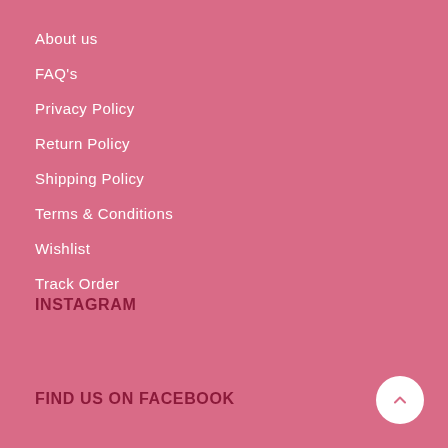About us
FAQ's
Privacy Policy
Return Policy
Shipping Policy
Terms & Conditions
Wishlist
Track Order
INSTAGRAM
FIND US ON FACEBOOK